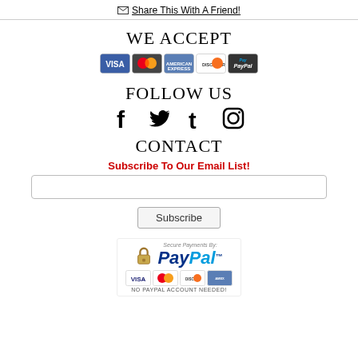✉ Share This With A Friend!
WE ACCEPT
[Figure (other): Payment method icons: Visa, MasterCard, American Express, Discover, PayPal]
FOLLOW US
[Figure (other): Social media icons: Facebook, Twitter, Tumblr, Instagram]
CONTACT
Subscribe To Our Email List!
[Figure (other): Email subscription input field]
[Figure (other): Subscribe button]
[Figure (other): Secure Payments By PayPal logo with Visa, MasterCard, Discover, Amex card icons and NO PAYPAL ACCOUNT NEEDED text]